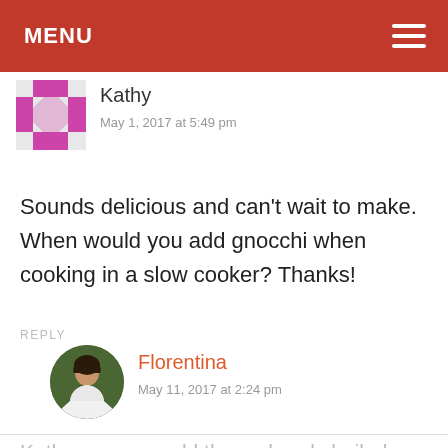MENU
Kathy
May 1, 2017 at 5:49 pm
Sounds delicious and can't wait to make. When would you add gnocchi when cooking in a slow cooker? Thanks!
REPLY
Florentina
May 11, 2017 at 2:24 pm
Kathy, you can add them already boiled